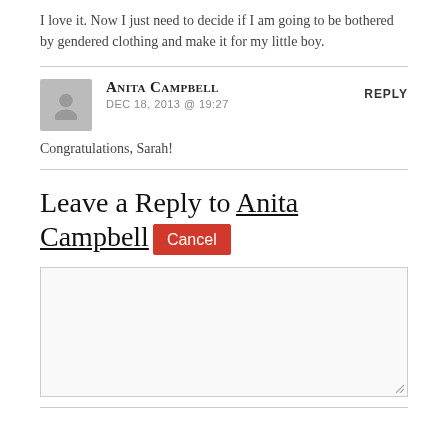I love it. Now I just need to decide if I am going to be bothered by gendered clothing and make it for my little boy.
Anita Campbell
DEC 18, 2013 @ 19:27
REPLY
Congratulations, Sarah!
Leave a Reply to Anita Campbell Cancel
[comment textarea]